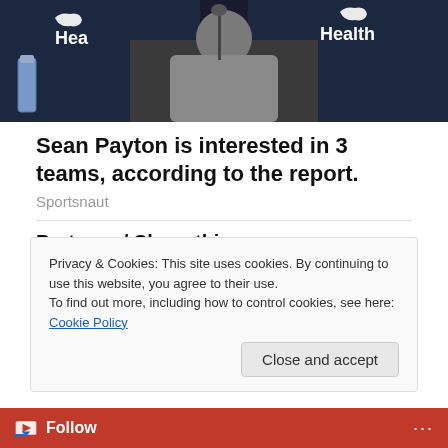[Figure (photo): Photo of Sean Payton at a press conference table with Ochsner Health banners in the background. A water bottle is visible on the left side.]
Sean Payton is interested in 3 teams, according to the report.
Sportsnaut
Partager / Share this
Email | Save | 2
Privacy & Cookies: This site uses cookies. By continuing to use this website, you agree to their use.
To find out more, including how to control cookies, see here: Cookie Policy
Close and accept
Follow ...